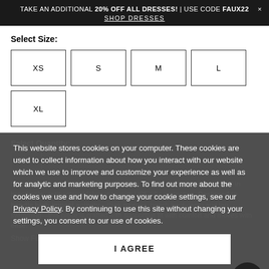TAKE AN ADDITIONAL 20% OFF ALL DRESSES! | USE CODE FAUX22 × SHOP DRESSES
Select Size:
XS
S
M
L
XL
Select Quantity:
1
Splash and sweat in the dynamic fit of this Gym To Swim legging, crafted in breathable, antibacterial fabrication with UPF 50+ protection. Designed to handle high-impact activity—think running, beach boot-camp and lap swimming—this piece is crafted with supportive fit with comfort and moves with ease.
Show Full Description
This website stores cookies on your computer. These cookies are used to collect information about how you interact with our website which we use to improve and customize your experience as well as for analytic and marketing purposes. To find out more about the cookies we use and how to change your cookie settings, see our Privacy Policy. By continuing to use this site without changing your settings, you consent to our use of cookies.
I AGREE